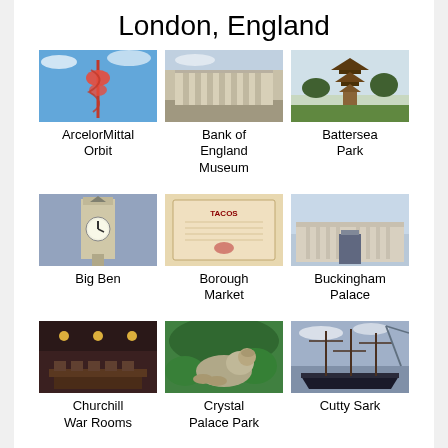London, England
[Figure (photo): ArcelorMittal Orbit tower against blue sky]
ArcelorMittal Orbit
[Figure (photo): Bank of England Museum building facade]
Bank of England Museum
[Figure (photo): Battersea Park pagoda structure]
Battersea Park
[Figure (photo): Big Ben clock tower]
Big Ben
[Figure (photo): Borough Market menu/sign]
Borough Market
[Figure (photo): Buckingham Palace facade]
Buckingham Palace
[Figure (photo): Churchill War Rooms interior]
Churchill War Rooms
[Figure (photo): Crystal Palace Park lion statue]
Crystal Palace Park
[Figure (photo): Cutty Sark tall ship]
Cutty Sark